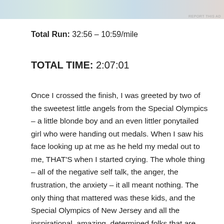[Figure (photo): Partial view of an advertisement banner image at top of page]
Total Run: 32:56 – 10:59/mile
TOTAL TIME: 2:07:01
Once I crossed the finish, I was greeted by two of the sweetest little angels from the Special Olympics – a little blonde boy and an even littler ponytailed girl who were handing out medals. When I saw his face looking up at me as he held my medal out to me, THAT'S when I started crying. The whole thing – all of the negative self talk, the anger, the frustration, the anxiety – it all meant nothing. The only thing that mattered was these kids, and the Special Olympics of New Jersey and all the inspirational, amazing, determined folks that are affiliated with them.